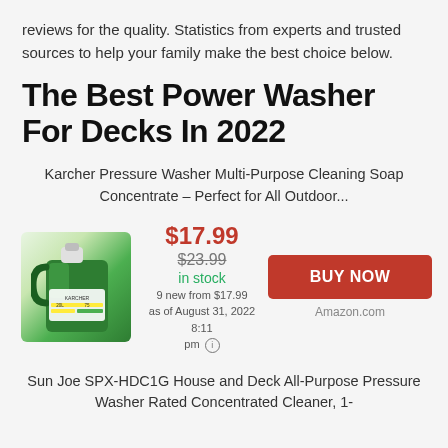reviews for the quality. Statistics from experts and trusted sources to help your family make the best choice below.
The Best Power Washer For Decks In 2022
Karcher Pressure Washer Multi-Purpose Cleaning Soap Concentrate – Perfect for All Outdoor...
[Figure (photo): Green jug of Karcher pressure washer cleaning soap concentrate product]
$17.99 $23.99 in stock 9 new from $17.99 as of August 31, 2022 8:11 pm
BUY NOW Amazon.com
Sun Joe SPX-HDC1G House and Deck All-Purpose Pressure Washer Rated Concentrated Cleaner, 1-